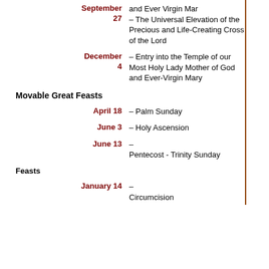| Date | Description |
| --- | --- |
| September 27 | – The Universal Elevation of the Precious and Life-Creating Cross of the Lord |
| December 4 | – Entry into the Temple of our Most Holy Lady Mother of God and Ever-Virgin Mary |
Movable Great Feasts
| Date | Description |
| --- | --- |
| April 18 | – Palm Sunday |
| June 3 | – Holy Ascension |
| June 13 | – Pentecost - Trinity Sunday |
Feasts
| Date | Description |
| --- | --- |
| January 14 | – Circumcision |